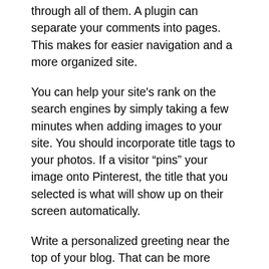through all of them. A plugin can separate your comments into pages. This makes for easier navigation and a more organized site.
You can help your site's rank on the search engines by simply taking a few minutes when adding images to your site. You should incorporate title tags to your photos. If a visitor “pins” your image onto Pinterest, the title that you selected is what will show up on their screen automatically.
Write a personalized greeting near the top of your blog. That can be more personal for your visitors, since you can craft a message based on how they were able to find your blog. This males you appear less robotic and you can use the Great Box plugin for this.
Ensure that users have the ability to email your posts to themselves. This is essential for sharing purposes, since not everyone uses Twitter or Facebook while working. Try using a